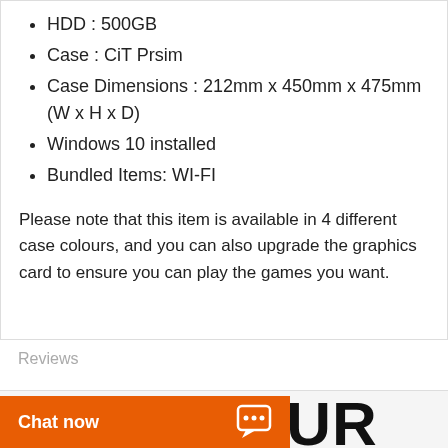HDD : 500GB
Case : CiT Prsim
Case Dimensions : 212mm x 450mm x 475mm (W x H x D)
Windows 10 installed
Bundled Items: WI-FI
Please note that this item is available in 4 different case colours, and you can also upgrade the graphics card to ensure you can play the games you want.
Reviews
JOIN OUR
Chat now